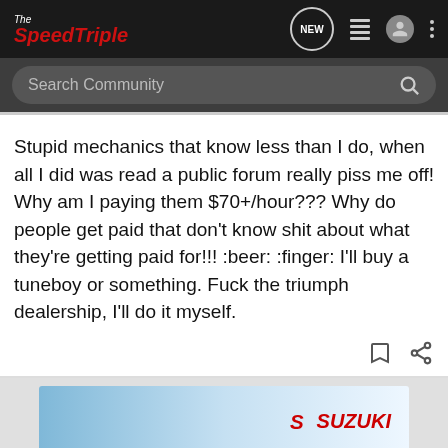The SpeedTriple — Navigation bar with search
Stupid mechanics that know less than I do, when all I did was read a public forum really piss me off!  Why am I paying them $70+/hour???  Why do people get paid that don't know shit about what they're getting paid for!!!    :beer: :finger:  I'll buy a tuneboy or something.  Fuck the triumph dealership, I'll do it myself.
[Figure (screenshot): Suzuki advertisement banner showing GSX-S1000 GT motorcycle]
[Figure (screenshot): Suzuki GSX-S1000 GT See It Now advertisement banner]